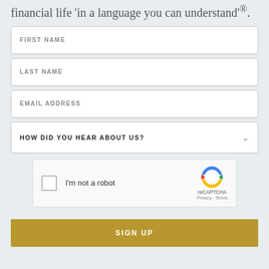financial life 'in a language you can understand'®.
FIRST NAME
LAST NAME
EMAIL ADDRESS
HOW DID YOU HEAR ABOUT US?
[Figure (other): reCAPTCHA widget with checkbox 'I'm not a robot', reCAPTCHA logo, Privacy and Terms links]
SIGN UP